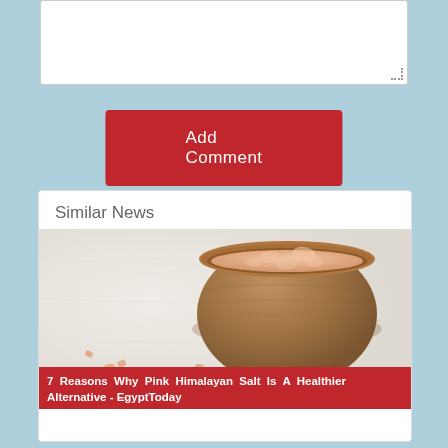[Figure (screenshot): White textarea input box with dotted resize handle in bottom-right corner]
Add Comment
Similar News
[Figure (photo): Photo of pink Himalayan salt crystals spilling out of a round wooden bowl onto a white surface]
7 Reasons Why Pink Himalayan Salt Is A Healthier Alternative - EgyptToday